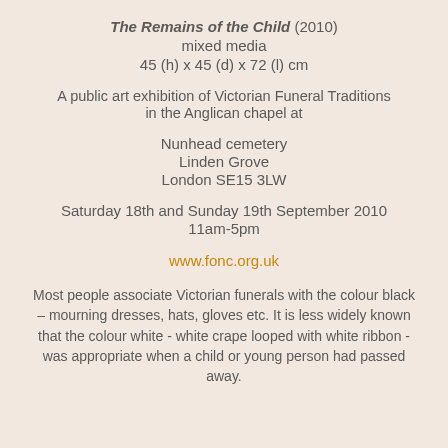The Remains of the Child (2010)
mixed media
45 (h) x 45 (d) x 72 (l) cm
A public art exhibition of Victorian Funeral Traditions in the Anglican chapel at
Nunhead cemetery
Linden Grove
London SE15 3LW
Saturday 18th and Sunday 19th September 2010
11am-5pm
www.fonc.org.uk
Most people associate Victorian funerals with the colour black – mourning dresses, hats, gloves etc. It is less widely known that the colour white - white crape looped with white ribbon - was appropriate when a child or young person had passed away.